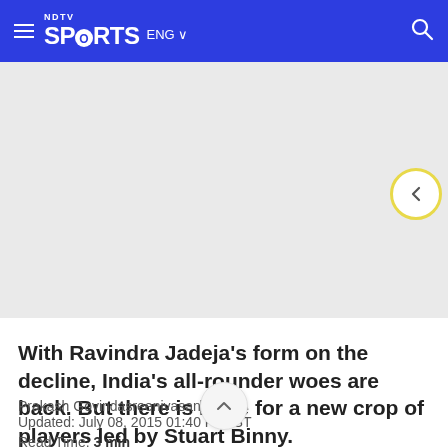NDTV Sports ENG
[Figure (other): Gray advertisement placeholder area with a back navigation button (circle with left arrow, yellow border) on the right side]
With Ravindra Jadeja's form on the decline, India's all-rounder woes are back. But there is hope for a new crop of players led by Stuart Binny.
Prakash Govindasreenivasan | Updated: July 08, 2015 01:40 PM IST
Read Time: 3 min